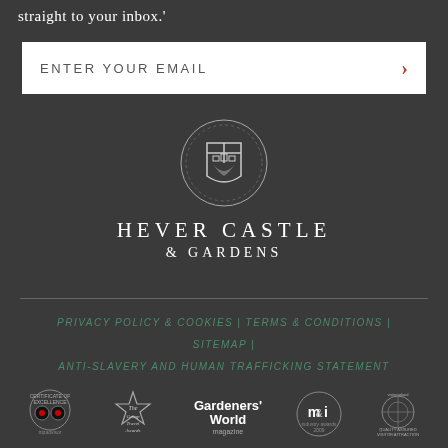straight to your inbox.'
ENTER YOUR EMAIL
[Figure (logo): Hever Castle & Gardens circular crest logo with shield motif]
HEVER CASTLE
& GARDENS
PRIVACY POLICY & COOKIES | TERMS & CONDITIONS | SITEMAP | ANTI-SLAVERY AND HUMAN TRAFFICKING STATEMENT
[Figure (logo): Row of award badges: TripAdvisor Certificate of Excellence, Group Travel Awards, Gardeners' World magazine, m&i industry awards 2009, Visit England Quality Assured Visitor Attraction]